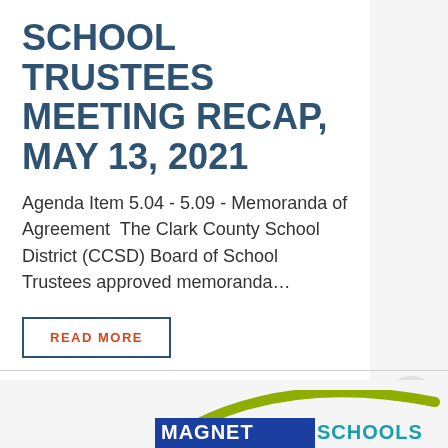SCHOOL TRUSTEES MEETING RECAP, MAY 13, 2021
Agenda Item 5.04 - 5.09 - Memoranda of Agreement  The Clark County School District (CCSD) Board of School Trustees approved memoranda…
READ MORE
[Figure (logo): Magnet Schools of America logo partially visible at bottom of page — blue rectangle with white text 'MAGNET' and teal/olive arc swoosh above]